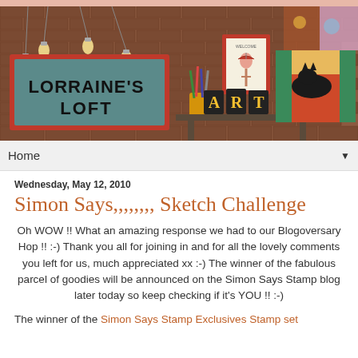[Figure (illustration): Blog header image for Lorraine's Loft showing a brick wall background with hanging Edison bulbs, a teal chalkboard sign reading LORRAINE'S LOFT in bold black text with a red frame, art supplies in a jar, a framed picture of a girl with umbrella, marquee ART letters, a colorful patterned armchair, and a black cat lying on it.]
Home ▼
Wednesday, May 12, 2010
Simon Says,,,,,,,, Sketch Challenge
Oh WOW !! What an amazing response we had to our Blogoversary Hop !! :-) Thank you all for joining in and for all the lovely comments you left for us, much appreciated xx :-) The winner of the fabulous parcel of goodies will be announced on the Simon Says Stamp blog later today so keep checking if it's YOU !! :-)
The winner of the Simon Says Stamp Exclusives Stamp set